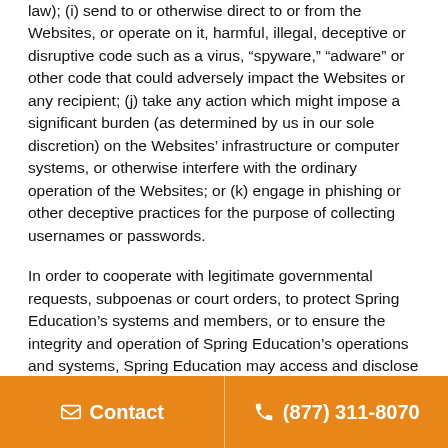law); (i) send to or otherwise direct to or from the Websites, or operate on it, harmful, illegal, deceptive or disruptive code such as a virus, “spyware,” “adware” or other code that could adversely impact the Websites or any recipient; (j) take any action which might impose a significant burden (as determined by us in our sole discretion) on the Websites’ infrastructure or computer systems, or otherwise interfere with the ordinary operation of the Websites; or (k) engage in phishing or other deceptive practices for the purpose of collecting usernames or passwords.
In order to cooperate with legitimate governmental requests, subpoenas or court orders, to protect Spring Education’s systems and members, or to ensure the integrity and operation of Spring Education’s operations and systems, Spring Education may access and disclose any information it considers necessary or appropriate, including, without limitation, user profile information (i.e. name, email address, etc.), IP addressing and traffic information and usage history,
Contact   (877) 311-8070